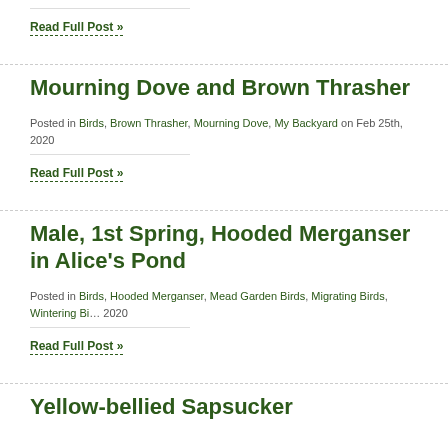Read Full Post »
Mourning Dove and Brown Thrasher
Posted in Birds, Brown Thrasher, Mourning Dove, My Backyard on Feb 25th, 2020
Read Full Post »
Male, 1st Spring, Hooded Merganser in Alice's Pond
Posted in Birds, Hooded Merganser, Mead Garden Birds, Migrating Birds, Wintering Birds on Feb 24th, 2020
Read Full Post »
Yellow-bellied Sapsucker